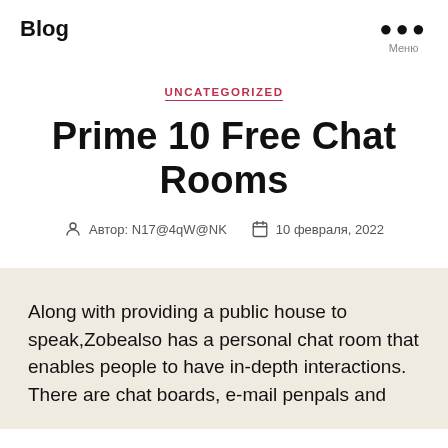Blog
UNCATEGORIZED
Prime 10 Free Chat Rooms
Автор: N17@4qW@NK   10 февраля, 2022
Along with providing a public house to speak,Zobealso has a personal chat room that enables people to have in-depth interactions. There are chat boards, e-mail penpals and